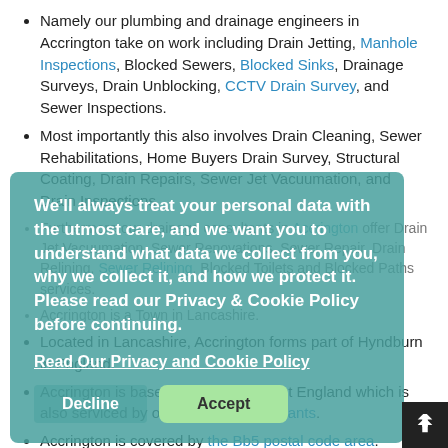Namely our plumbing and drainage engineers in Accrington take on work including Drain Jetting, Manhole Inspections, Blocked Sewers, Blocked Sinks, Drainage Surveys, Drain Unblocking, CCTV Drain Survey, and Sewer Inspections.
Most importantly this also involves Drain Cleaning, Sewer Rehabilitations, Home Buyers Drain Survey, Structural Coating, Drain Repairs, Sewer Jet Vacuumation, and Drain Inspections.
Furthermore our drainage consultants in Accrington offer Drain Jet Vacuumation, Sewer Renovations, Sewer Repair, Drain Relining, Sewer Relining, Blocked Toilets and Blocked Paths services.
Accrington is a Town in Lancashire.
Located in Lancashire, Accrington forms part of Hyndburn in England.
Accrington is based within North West England which is also serviced by our drainage consultants.
Accrington is covered by the Bb5 postal code area.
Accrington has a number of schools in the area including Mount Carmel Roman Catholic High School, and
We'll always treat your personal data with the utmost care, and we want you to understand what data we collect from you, why we collect it, and how we protect it. Please read our Privacy & Cookie Policy before continuing.
Read Our Privacy and Cookie Policy
Decline
Accept